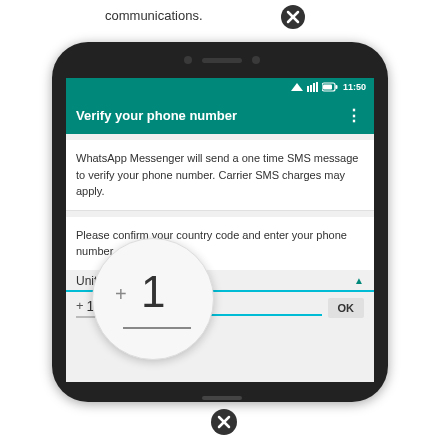communications.
[Figure (screenshot): WhatsApp phone number verification screen on an Android phone. Shows 'Verify your phone number' header in teal, a message about SMS verification, country selector showing 'United States', country code +1, phone number input, and OK button. A magnifier circle zooms in on the +1 country code.]
[Figure (other): Navigation/close button (circled X) at bottom of page]